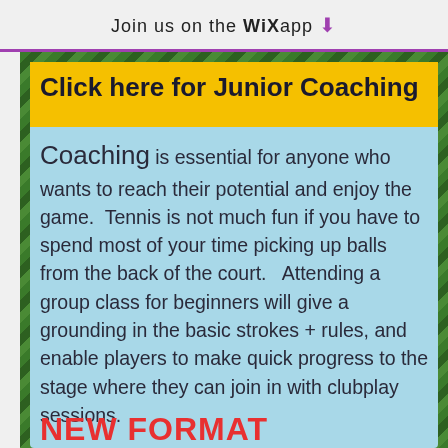Join us on the WiX app ↓
Click here for Junior Coaching
Coaching is essential for anyone who wants to reach their potential and enjoy the game.  Tennis is not much fun if you have to spend most of your time picking up balls from the back of the court.   Attending a group class for beginners will give a grounding in the basic strokes + rules, and enable players to make quick progress to the stage where they can join in with clubplay sessions.
NEW FORMAT